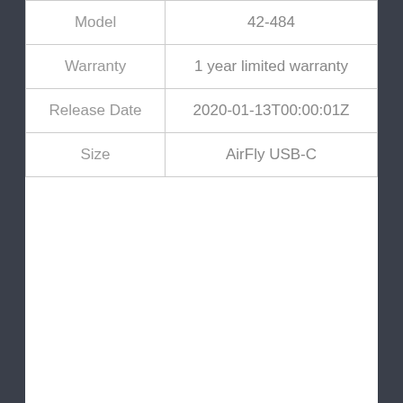|  |  |
| --- | --- |
| Model | 42-484 |
| Warranty | 1 year limited warranty |
| Release Date | 2020-01-13T00:00:01Z |
| Size | AirFly USB-C |